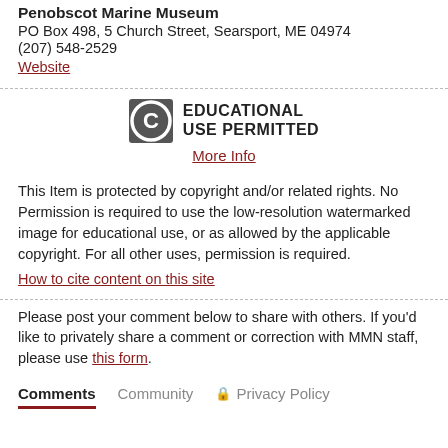Penobscot Marine Museum
PO Box 498, 5 Church Street, Searsport, ME 04974
(207) 548-2529
Website
[Figure (logo): Creative Commons Educational Use Permitted badge with C-in-circle icon]
More Info
This Item is protected by copyright and/or related rights. No Permission is required to use the low-resolution watermarked image for educational use, or as allowed by the applicable copyright. For all other uses, permission is required.
How to cite content on this site
Please post your comment below to share with others. If you'd like to privately share a comment or correction with MMN staff, please use this form.
Comments	Community	🔒 Privacy Policy